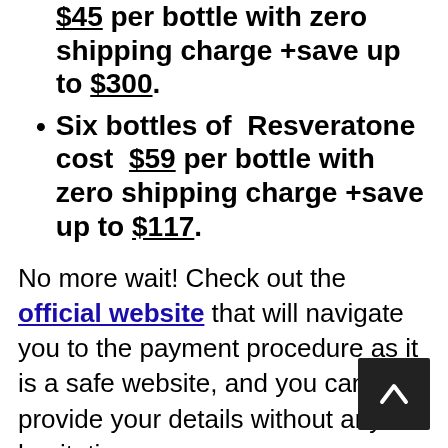$45 per bottle with zero shipping charge +save up to $300.
Six bottles of Resveratone cost $59 per bottle with zero shipping charge +save up to $117.
No more wait! Check out the official website that will navigate you to the payment procedure as it is a safe website, and you can provide your details without any hesitation.
Dosage of Resveratone:
Over-production of cortisol is a substantial motive of stress that may additionally